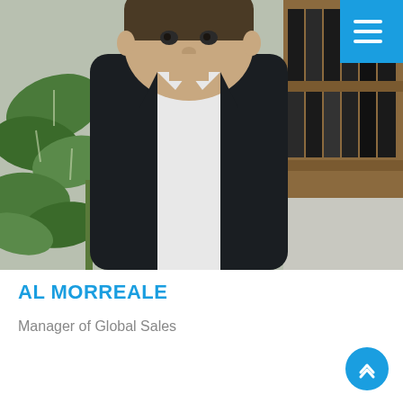[Figure (photo): Professional headshot of Al Morreale, a middle-aged man in a dark suit and white shirt, smiling, standing in front of a bookshelf with binders and a tropical plant. A blue navigation button with a hamburger menu icon is visible in the top right corner.]
AL MORREALE
Manager of Global Sales